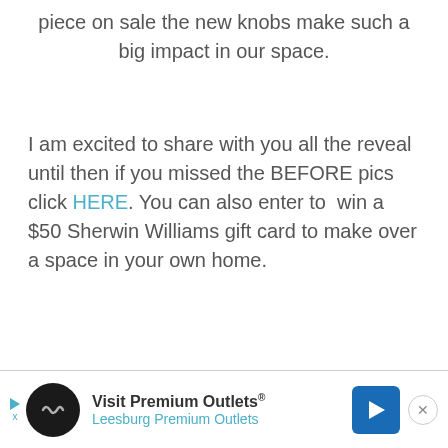piece on sale the new knobs make such a big impact in our space.
I am excited to share with you all the reveal until then if you missed the BEFORE pics click HERE. You can also enter to win a $50 Sherwin Williams gift card to make over a space in your own home.
[Figure (other): Advertisement banner for Visit Premium Outlets - Leesburg Premium Outlets, with logo, navigation arrow icon, and close button.]